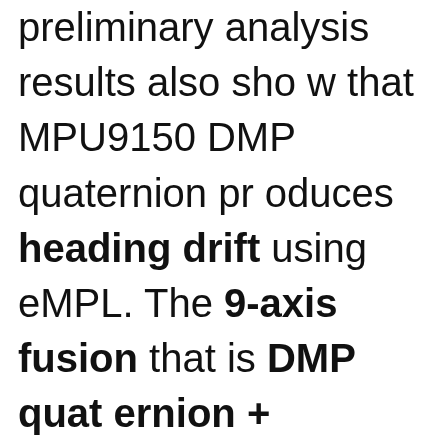preliminary analysis results also show that MPU9150 DMP quaternion produces heading drift using eMPL. The 9-axis fusion that is DMP quaternion + magnetometer data left for users ( whatever, they did not release source). Currently this is a bottleneck in using the DMP quaternion [↑] it is. For improved heading stability, users have to find their own way of f